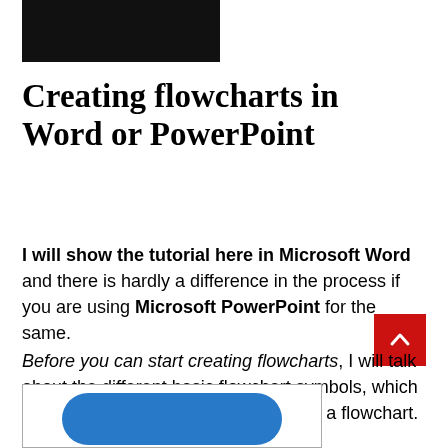[Figure (screenshot): Black header/banner image at the top left]
Creating flowcharts in Word or PowerPoint
I will show the tutorial here in Microsoft Word and there is hardly a difference in the process if you are using Microsoft PowerPoint for the same.
Before you can start creating flowcharts, I will talk about the different basic flowchart symbols, which you should use at the time of creating a flowchart.
[Figure (screenshot): Partial view of a blue rounded rectangle flowchart shape inside a bordered box at the bottom]